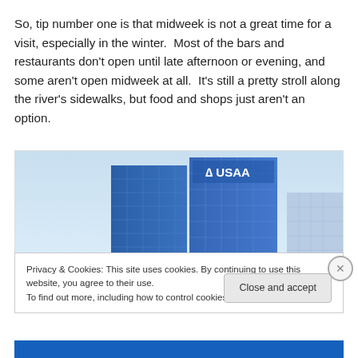So, tip number one is that midweek is not a great time for a visit, especially in the winter.  Most of the bars and restaurants don't open until late afternoon or evening, and some aren't open midweek at all.  It's still a pretty stroll along the river's sidewalks, but food and shops just aren't an option.
[Figure (photo): Photo of USAA office buildings against a light blue sky. Two tall blue glass skyscrapers with the USAA logo visible on one of them, and a shorter white building to the right.]
Privacy & Cookies: This site uses cookies. By continuing to use this website, you agree to their use.
To find out more, including how to control cookies, see here: Cookie Policy
Close and accept